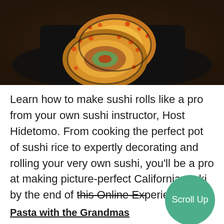[Figure (photo): Two pieces of California maki sushi rolls with orange tobiko (fish roe) coating, avocado and crab filling, served on a black rectangular slate plate on a wooden surface.]
Learn how to make sushi rolls like a pro from your own sushi instructor, Host Hidetomo. From cooking the perfect pot of sushi rice to expertly decorating and rolling your very own sushi, you’ll be a pro at making picture-perfect California maki by the end of this Online Experience.
[Figure (other): Green circular Scroll Up button]
Pasta with the Grandmas